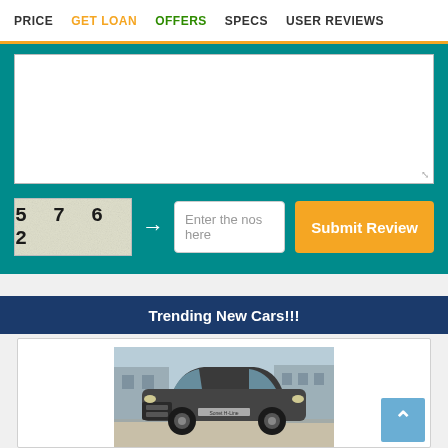PRICE  GET LOAN  OFFERS  SPECS  USER REVIEWS
[Figure (screenshot): Web form with textarea, CAPTCHA showing '5 7 6 2', text input 'Enter the nos here', and 'Submit Review' orange button, all on teal background]
Trending New Cars!!!
[Figure (photo): Photo of a dark gray SUV (Kia Sonet or similar) photographed from the front in an outdoor setting]